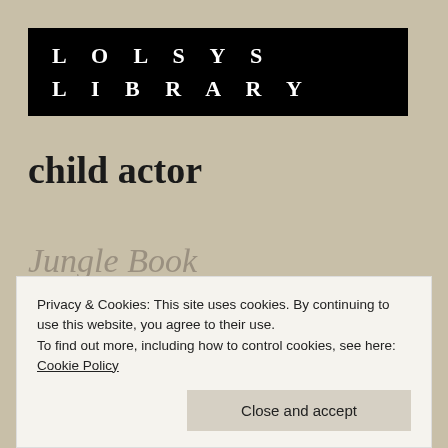LOLSYS LIBRARY
child actor
Jungle Book
April 18, 2016
Privacy & Cookies: This site uses cookies. By continuing to use this website, you agree to their use.
To find out more, including how to control cookies, see here: Cookie Policy
Close and accept